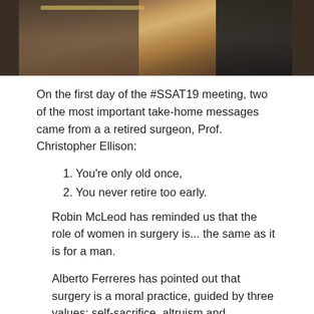[Figure (photo): Photograph of a conference room setting, showing chairs and a wooden podium or lectern against a dark curtained background.]
On the first day of the #SSAT19 meeting, two of the most important take-home messages came from a a retired surgeon, Prof. Christopher Ellison:
1. You're only old once,
2. You never retire too early.
Robin McLeod has reminded us that the role of women in surgery is... the same as it is for a man.
Alberto Ferreres has pointed out that surgery is a moral practice, guided by three values: self-sacrifice, altruism and unselfishness.
Sachiyo Nomura has showed us how it is possible to